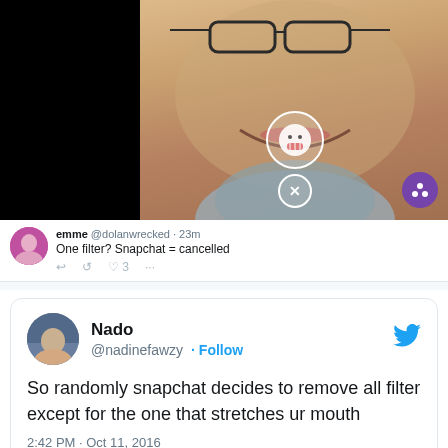[Figure (screenshot): Snapchat selfie screenshot showing a person's face with glasses smiling, with a Snapchat UI overlay showing a smiley face filter button, an X button, and a purple button in the corner. The sides of the image are black.]
emme @dolanwrecked · 23m
One filter? Snapchat = cancelled
Nado
@nadinefawzy · Follow
So randomly snapchat decides to remove all filter except for the one that stretches ur mouth
2:42 PM · Oct 11, 2016